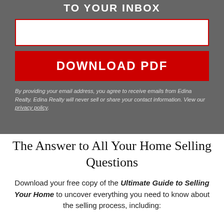TO YOUR INBOX
[Figure (other): Email input text field with red border]
DOWNLOAD PDF
By providing your email address, you agree to receive emails from Edina Realty. Edina Realty will never sell or share your contact information. View our privacy policy.
The Answer to All Your Home Selling Questions
Download your free copy of the Ultimate Guide to Selling Your Home to uncover everything you need to know about the selling process, including: